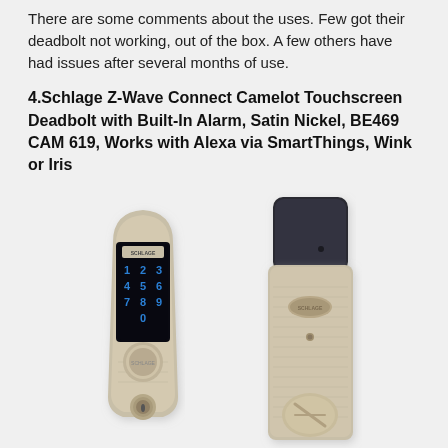There are some comments about the uses. Few got their deadbolt not working, out of the box. A few others have had issues after several months of use.
4.Schlage Z-Wave Connect Camelot Touchscreen Deadbolt with Built-In Alarm, Satin Nickel, BE469 CAM 619, Works with Alexa via SmartThings, Wink or Iris
[Figure (photo): Two views of the Schlage Z-Wave Connect Camelot Touchscreen Deadbolt in Satin Nickel finish. Left: front keypad view with touchscreen showing digits 1-9 and 0 in blue, Schlage logo at top. Right: interior side view showing the back plate with thumb turn knob and Schlage logo badge.]